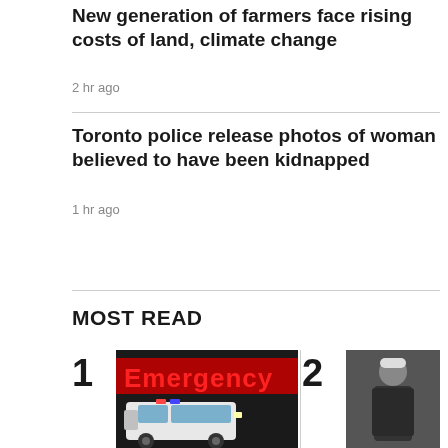New generation of farmers face rising costs of land, climate change
2 hr ago
Toronto police release photos of woman believed to have been kidnapped
1 hr ago
MOST READ
[Figure (photo): Ambulance parked in front of an Emergency sign at night, lit in red neon.]
[Figure (photo): Person in dark jacket and white cap, partially visible.]